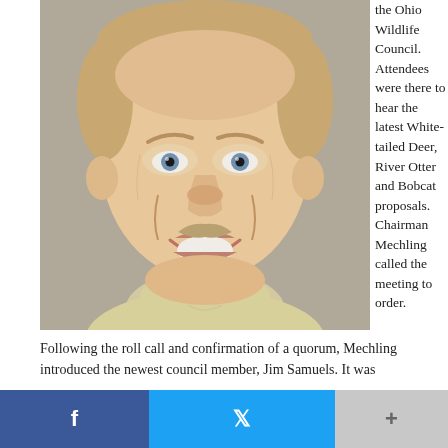[Figure (photo): Headshot photo of a middle-aged man with short blonde/grey hair, blue eyes, and a light mustache, smiling, wearing a light yellow shirt. Photo taken against a light grey background.]
the Ohio Wildlife Council. Attendees were there to hear the latest White-tailed Deer, River Otter and Bobcat proposals. Chairman Mechling called the meeting to order.
Following the roll call and confirmation of a quorum, Mechling introduced the newest council member, Jim Samuels. It was